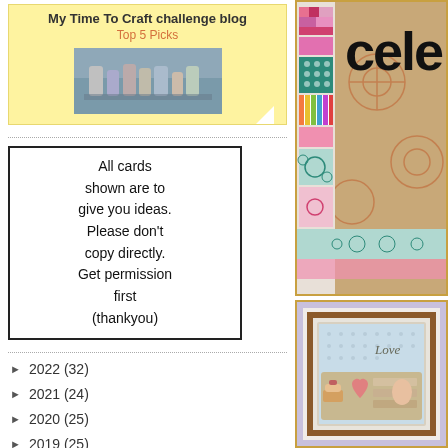[Figure (screenshot): Blog badge for 'My Time To Craft challenge blog' with 'Top 5 Picks' subtitle and a photo of craft supplies]
All cards shown are to give you ideas. Please don't copy directly. Get permission first (thankyou)
► 2022 (32)
► 2021 (24)
► 2020 (25)
► 2019 (25)
▼ 2018 (26)
► December (2)
[Figure (photo): Craft card with colorful patchwork strips and a black 'cele' die-cut letter on a kraft/floral background]
[Figure (photo): Framed artwork with 'Love' text on a light dotted background with decorative heart and pastry motifs in warm brown tones]